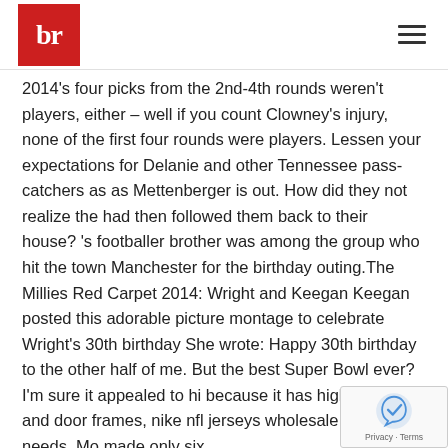br
2014's four picks from the 2nd-4th rounds weren't players, either – well if you count Clowney's injury, none of the first four rounds were players. Lessen your expectations for Delanie and other Tennessee pass-catchers as as Mettenberger is out. How did they not realize the had then followed them back to their house? 's footballer brother was among the group who hit the town Manchester for the birthday outing.The Millies Red Carpet 2014: Wright and Keegan Keegan posted this adorable picture montage to celebrate Wright's 30th birthday She wrote: Happy 30th birthday to the other half of me. But the best Super Bowl ever? I'm sure it appealed to hi because it has high ceilings and door frames, nike nfl jerseys wholesale which he needs. Mo made only six